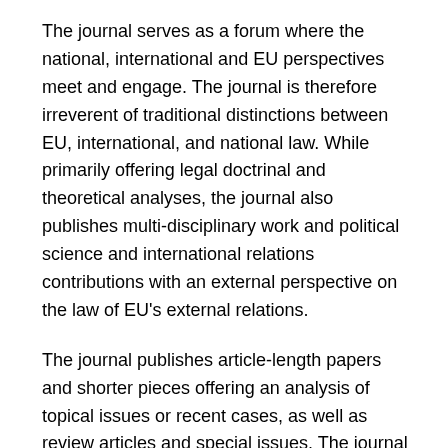The journal serves as a forum where the national, international and EU perspectives meet and engage. The journal is therefore irreverent of traditional distinctions between EU, international, and national law. While primarily offering legal doctrinal and theoretical analyses, the journal also publishes multi-disciplinary work and political science and international relations contributions with an external perspective on the law of EU's external relations.
The journal publishes article-length papers and shorter pieces offering an analysis of topical issues or recent cases, as well as review articles and special issues. The journal welcomes the submission of highest-quality papers in the following formats:
'Articles' (8-12,000 words),